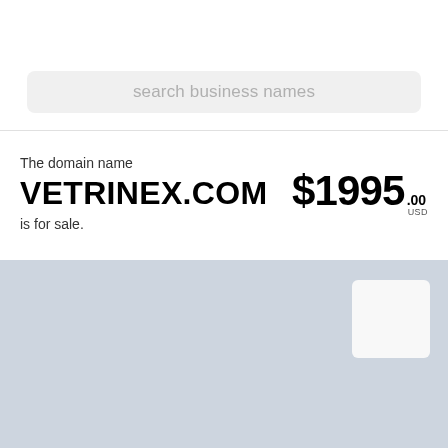search business names
The domain name VETRINEX.COM is for sale.
$1995.00 USD